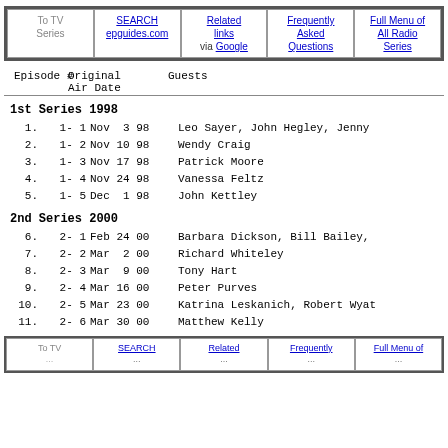To TV Series | SEARCH epguides.com | Related links via Google | Frequently Asked Questions | Full Menu of All Radio Series
| Episode # | Original Air Date | Guests |
| --- | --- | --- |
1st Series 1998
1.   1- 1   Nov  3 98   Leo Sayer, John Hegley, Jenny
2.   1- 2   Nov 10 98   Wendy Craig
3.   1- 3   Nov 17 98   Patrick Moore
4.   1- 4   Nov 24 98   Vanessa Feltz
5.   1- 5   Dec  1 98   John Kettley
2nd Series 2000
6.   2- 1   Feb 24 00   Barbara Dickson, Bill Bailey,
7.   2- 2   Mar  2 00   Richard Whiteley
8.   2- 3   Mar  9 00   Tony Hart
9.   2- 4   Mar 16 00   Peter Purves
10.  2- 5   Mar 23 00   Katrina Leskanich, Robert Wyat
11.  2- 6   Mar 30 00   Matthew Kelly
To TV | SEARCH | Related | Frequently | Full Menu of